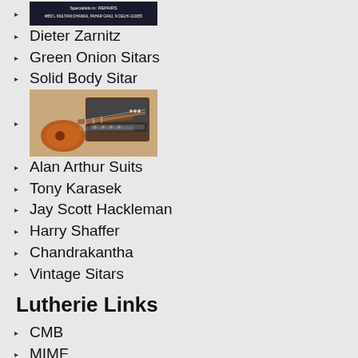[Figure (photo): Shop sign image reading: Specialists in: REPAIRS, #850 L MULTANI DHANDA, PAHAR GANJ, N DELHI-110055]
Dieter Zarnitz
Green Onion Sitars
Solid Body Sitar
[Figure (photo): Photo of a solid body sitar (orange/brown sitar-guitar hybrid) leaning against an amplifier]
Alan Arthur Suits
Tony Karasek
Jay Scott Hackleman
Harry Shaffer
Chandrakantha
Vintage Sitars
Lutherie Links
CMB
MIMF
GUL
FRETS
Sitar Sale Links